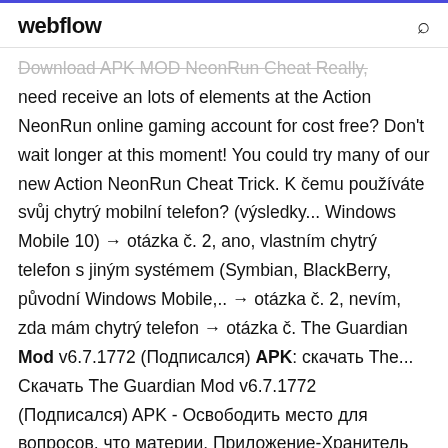webflow
Download APK MOD NeonRun Cheat Really, need receive an lots of elements at the Action NeonRun online gaming account for cost free? Don't wait longer at this moment! You could try many of our new Action NeonRun Cheat Trick. K čemu používáte svůj chytrý mobilní telefon? (výsledky... Windows Mobile 10) → otázka č. 2, ano, vlastním chytrý telefon s jiným systémem (Symbian, BlackBerry, původní Windows Mobile,.. → otázka č. 2, nevím, zda mám chytrý telefon → otázka č. The Guardian Mod v6.7.1772 (Подписался) APK: скачать The... Скачать The Guardian Mod v6.7.1772 (Подписался) APK - Освободить место для вопросов, что материи. Приложение-Хранитель дает вам последние